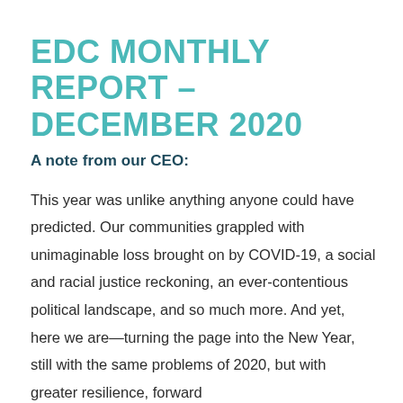EDC MONTHLY REPORT – DECEMBER 2020
A note from our CEO:
This year was unlike anything anyone could have predicted. Our communities grappled with unimaginable loss brought on by COVID-19, a social and racial justice reckoning, an ever-contentious political landscape, and so much more. And yet, here we are—turning the page into the New Year, still with the same problems of 2020, but with greater resilience, forward